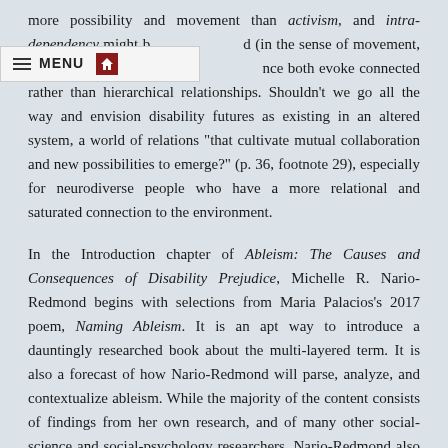more possibility and movement than activism, and intra-dependency might b... d (in the sense of movement, change and relation) t... nce both evoke connected rather than hierarchical relationships. Shouldn't we go all the way and envision disability futures as existing in an altered system, a world of relations “that cultivate mutual collaboration and new possibilities to emerge?” (p. 36, footnote 29), especially for neurodiverse people who have a more relational and saturated connection to the environment.
In the Introduction chapter of Ableism: The Causes and Consequences of Disability Prejudice, Michelle R. Nario-Redmond begins with selections from Maria Palacios’s 2017 poem, Naming Ableism. It is an apt way to introduce a dauntingly researched book about the multi-layered term. It is also a forecast of how Nario-Redmond will parse, analyze, and contextualize ableism. While the majority of the content consists of findings from her own research, and of many other social-science and social-psychology researchers, Nario-Redmond also includes provocative images and helpful resources between the chapters and in the Appendix, such as links to blogs and websites. The author also personalizes the quantitative data with autobiographical voices between sections. They act